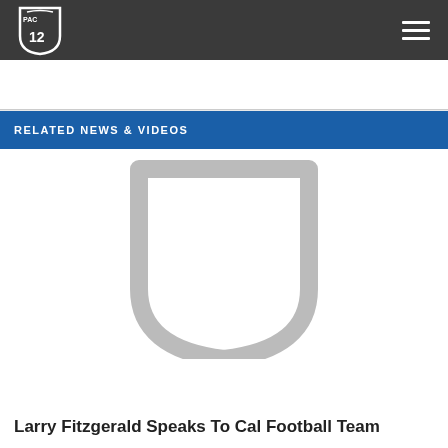[Figure (logo): PAC-12 shield logo in white on dark nav bar]
[Figure (illustration): Gray PAC-12 shield placeholder image on white background]
RELATED NEWS & VIDEOS
Larry Fitzgerald Speaks To Cal Football Team